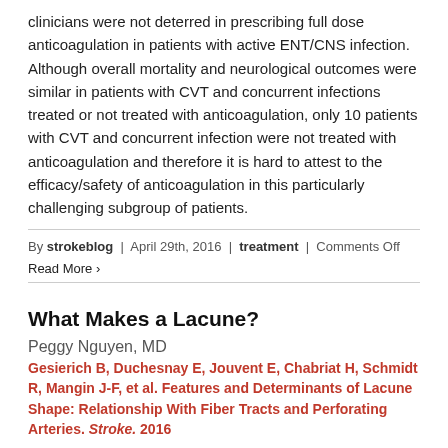clinicians were not deterred in prescribing full dose anticoagulation in patients with active ENT/CNS infection. Although overall mortality and neurological outcomes were similar in patients with CVT and concurrent infections treated or not treated with anticoagulation, only 10 patients with CVT and concurrent infection were not treated with anticoagulation and therefore it is hard to attest to the efficacy/safety of anticoagulation in this particularly challenging subgroup of patients.
By strokeblog | April 29th, 2016 | treatment | Comments Off
Read More ›
What Makes a Lacune?
Peggy Nguyen, MD
Gesierich B, Duchesnay E, Jouvent E, Chabriat H, Schmidt R, Mangin J-F, et al. Features and Determinants of Lacune Shape: Relationship With Fiber Tracts and Perforating Arteries. Stroke. 2016